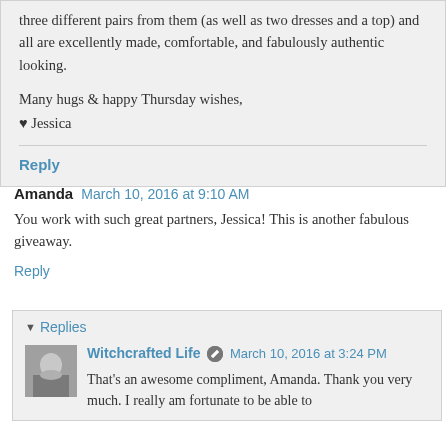three different pairs from them (as well as two dresses and a top) and all are excellently made, comfortable, and fabulously authentic looking.
Many hugs & happy Thursday wishes,
♥ Jessica
Reply
Amanda  March 10, 2016 at 9:10 AM
You work with such great partners, Jessica! This is another fabulous giveaway.
Reply
▾ Replies
Witchcrafted Life  March 10, 2016 at 3:24 PM
That's an awesome compliment, Amanda. Thank you very much. I really am fortunate to be able to